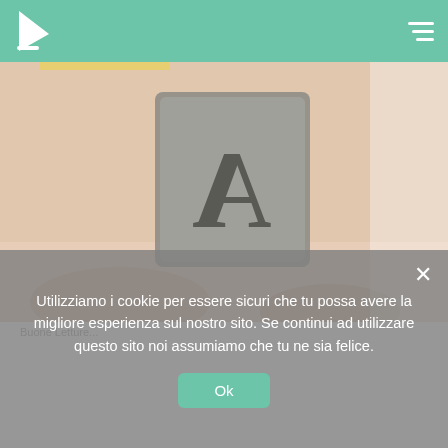Navigation header with logo and hamburger menu
[Figure (photo): Close-up photo of a hand holding a metal letterpress type block with a serif letter 'A' on it, warm toned/faded color]
Utilizziamo i cookie per essere sicuri che tu possa avere la migliore esperienza sul nostro sito. Se continui ad utilizzare questo sito noi assumiamo che tu ne sia felice.
Ok